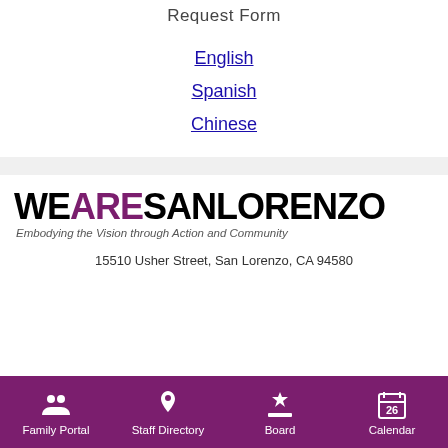Request Form
English
Spanish
Chinese
[Figure (logo): We Are San Lorenzo logo with tagline: Embodying the Vision through Action and Community]
15510 Usher Street, San Lorenzo, CA 94580
Family Portal | Staff Directory | Board | Calendar